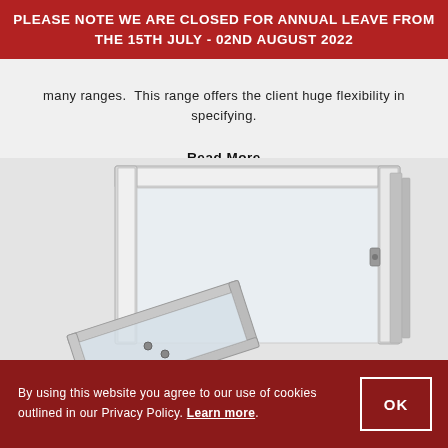PLEASE NOTE WE ARE CLOSED FOR ANNUAL LEAVE FROM THE 15TH JULY - 02ND AUGUST 2022
many ranges.  This range offers the client huge flexibility in specifying.
Read More
[Figure (photo): Product photo of white aluminium window frames — a large outer frame with a smaller inner casement frame tilted open at the bottom, shown against a light grey background.]
By using this website you agree to our use of cookies outlined in our Privacy Policy. Learn more.